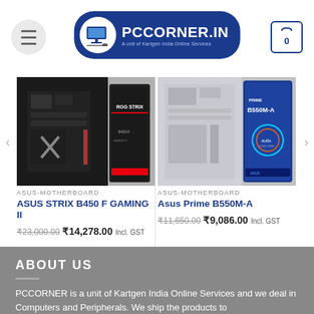[Figure (logo): PCCORNER.IN logo with computer icon in blue rounded rectangle, subtitle: A unit of Kartgen India Online Services]
[Figure (photo): ASUS STRIX B450 F GAMING II motherboard and box product image]
ASUS-MOTHERBOARD
ASUS STRIX B450 F GAMING II
₹23,000.00  ₹14,278.00 Incl. GST
[Figure (photo): Asus Prime B550M-A motherboard and box product image]
ASUS-MOTHERBOARD
Asus Prime B550M-A
₹11,650.00  ₹9,086.00 Incl. GST
ABOUT US
PCCORNER is a unit of Kartgen India Online Services and we deal in Computers and Peripherals. We ship the products to